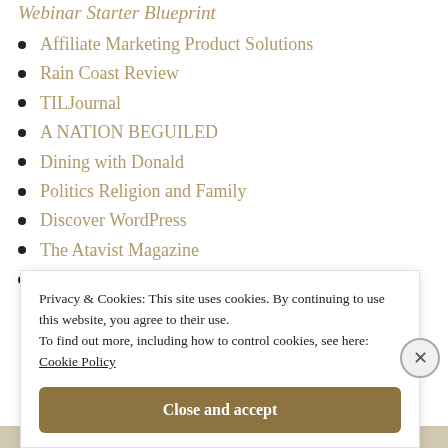Affiliate Marketing Product Solutions
Rain Coast Review
TILJournal
A NATION BEGUILED
Dining with Donald
Politics Religion and Family
Discover WordPress
The Atavist Magazine
Longreads
Privacy & Cookies: This site uses cookies. By continuing to use this website, you agree to their use.
To find out more, including how to control cookies, see here: Cookie Policy
Close and accept